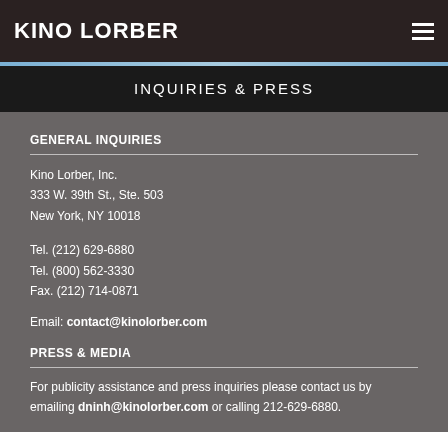KINO LORBER
INQUIRIES & PRESS
GENERAL INQUIRIES
Kino Lorber, Inc.
333 W. 39th St., Ste. 503
New York, NY 10018
Tel. (212) 629-6880
Tel. (800) 562-3330
Fax. (212) 714-0871
Email: contact@kinolorber.com
PRESS & MEDIA
For publicity assistance and press inquiries please contact us by emailing dninh@kinolorber.com or calling 212-629-6880.